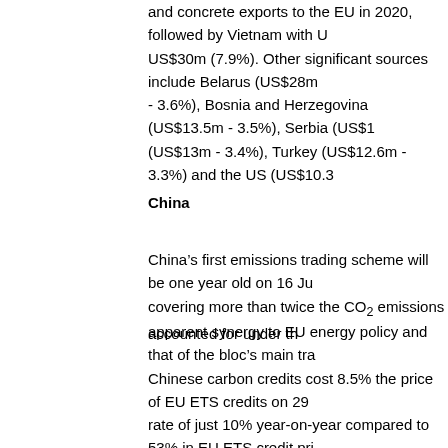and concrete exports to the EU in 2020, followed by Vietnam with US$30m (7.9%). Other significant sources include Belarus (US$28m - 3.6%), Bosnia and Herzegovina (US$13.5m - 3.5%), Serbia (US$1 (US$13m - 3.4%), Turkey (US$12.6m - 3.3%) and the US (US$10.3
China
China’s first emissions trading scheme will be one year old on 16 Ju covering more than twice the CO₂ emissions accounted for under th
apparent synergy to EU energy policy and that of the bloc’s main tra Chinese carbon credits cost 8.5% the price of EU ETS credits on 29 rate of just 10% year-on-year compared to 53% in EU ETS credit pri equivalent, they are also restricted to the energy sector. Chinese ce meet the CBAM on its own terms. The inclusion of indirect emissions operating in China’s 57% coal-powered economy. Premier Li Keqian on their guard against a ‘new green trade barrier.’
These concerns ought to be considered in light of the scale and dive EU trade partnership. The eventual inclusion of polymers, hydrogen CBAM still does not extend its scope beyond 3% of Chinese imports China to retain the leverage it has previously proved willing to exerc threaten the perceived interests of global trade.
China plans to reach net zero CO₂ emissions by 2060 through an er
invested US$266m in 2021, more than the next six ranked countries